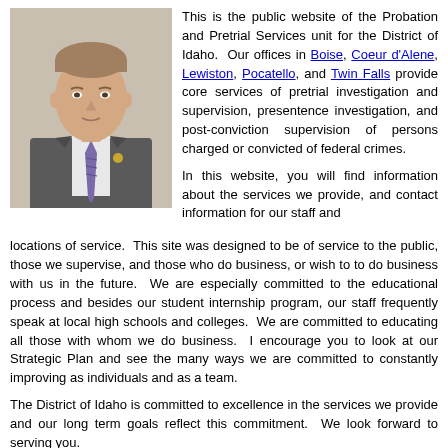[Figure (photo): Professional headshot of a man in a grey suit with a purple tie, light background]
This is the public website of the Probation and Pretrial Services unit for the District of Idaho. Our offices in Boise, Coeur d'Alene, Lewiston, Pocatello, and Twin Falls provide core services of pretrial investigation and supervision, presentence investigation, and post-conviction supervision of persons charged or convicted of federal crimes.
In this website, you will find information about the services we provide, and contact information for our staff and locations of service. This site was designed to be of service to the public, those we supervise, and those who do business, or wish to to do business with us in the future. We are especially committed to the educational process and besides our student internship program, our staff frequently speak at local high schools and colleges. We are committed to educating all those with whom we do business. I encourage you to look at our Strategic Plan and see the many ways we are committed to constantly improving as individuals and as a team.
The District of Idaho is committed to excellence in the services we provide and our long term goals reflect this commitment. We look forward to serving you.